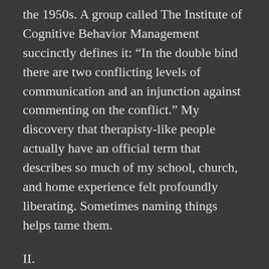the 1950s. A group called The Institute of Cognitive Behavior Management succinctly defines it: “In the double bind there are two conflicting levels of communication and an injunction against commenting on the conflict.” My discovery that therapisty-like people actually have an official term that describes so much of my school, church, and home experience felt profoundly liberating. Sometimes naming things helps tame them.
II.